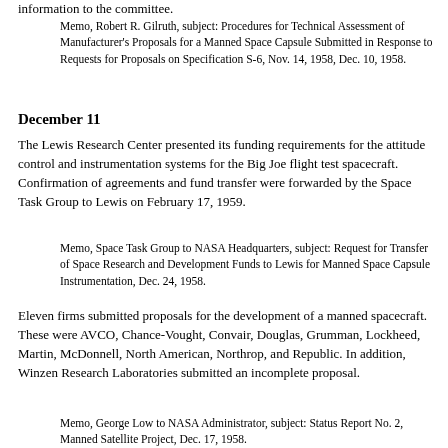information to the committee.
Memo, Robert R. Gilruth, subject: Procedures for Technical Assessment of Manufacturer's Proposals for a Manned Space Capsule Submitted in Response to Requests for Proposals on Specification S-6, Nov. 14, 1958, Dec. 10, 1958.
December 11
The Lewis Research Center presented its funding requirements for the attitude control and instrumentation systems for the Big Joe flight test spacecraft. Confirmation of agreements and fund transfer were forwarded by the Space Task Group to Lewis on February 17, 1959.
Memo, Space Task Group to NASA Headquarters, subject: Request for Transfer of Space Research and Development Funds to Lewis for Manned Space Capsule Instrumentation, Dec. 24, 1958.
Eleven firms submitted proposals for the development of a manned spacecraft. These were AVCO, Chance-Vought, Convair, Douglas, Grumman, Lockheed, Martin, McDonnell, North American, Northrop, and Republic. In addition, Winzen Research Laboratories submitted an incomplete proposal.
Memo, George Low to NASA Administrator, subject: Status Report No. 2, Manned Satellite Project, Dec. 17, 1958.